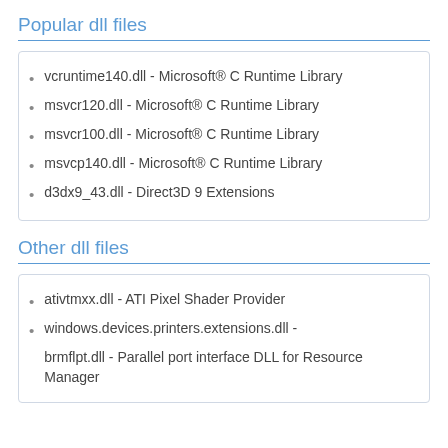Popular dll files
vcruntime140.dll - Microsoft® C Runtime Library
msvcr120.dll - Microsoft® C Runtime Library
msvcr100.dll - Microsoft® C Runtime Library
msvcp140.dll - Microsoft® C Runtime Library
d3dx9_43.dll - Direct3D 9 Extensions
Other dll files
ativtmxx.dll - ATI Pixel Shader Provider
windows.devices.printers.extensions.dll -
brmflpt.dll - Parallel port interface DLL for Resource Manager